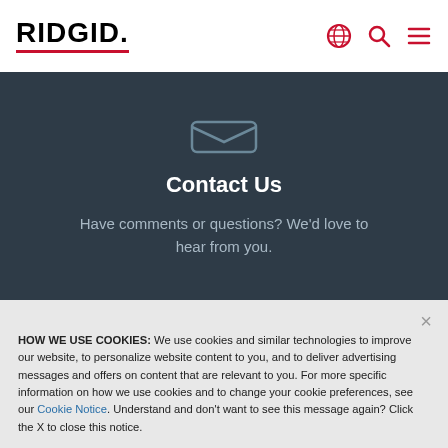RIDGID
Contact Us
Have comments or questions? We'd love to hear from you.
HOW WE USE COOKIES: We use cookies and similar technologies to improve our website, to personalize website content to you, and to deliver advertising messages and offers on content that are relevant to you. For more specific information on how we use cookies and to change your cookie preferences, see our Cookie Notice. Understand and don't want to see this message again? Click the X to close this notice.